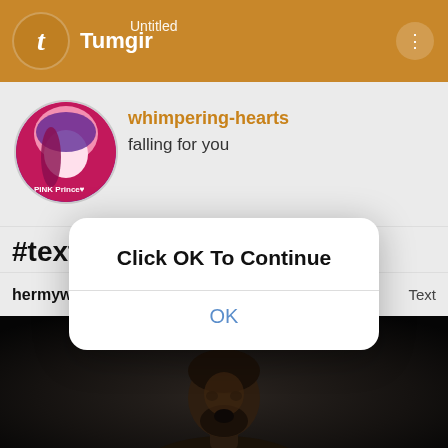Tumblr — Untitled
whimpering-hearts
falling for you
#textposts
hermywon · 2 days ago   Text
[Figure (screenshot): Dark cinematic still of a man with beard appearing to yell or react intensely, in a dimly lit scene]
[Figure (screenshot): Mobile dialog popup over Tumblr app with text 'Click OK To Continue' and an OK button]
Click OK To Continue
OK